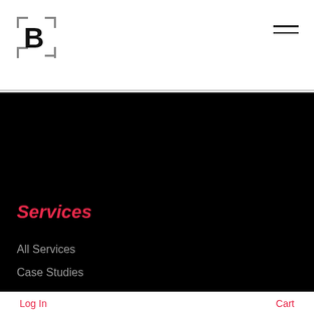[Figure (logo): Square bracket logo with bold B inside]
[Figure (illustration): Hamburger menu icon with two horizontal lines]
Services
All Services
Case Studies
Members
Member Area
[Figure (illustration): Pink circular phone/call button with phone icon]
Company
Log In   Cart